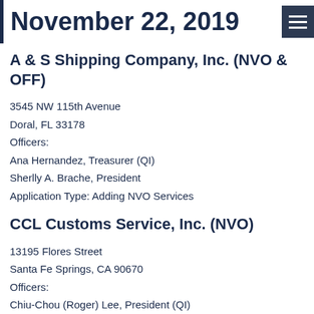November 22, 2019
A & S Shipping Company, Inc. (NVO & OFF)
3545 NW 115th Avenue
Doral, FL 33178
Officers:
Ana Hernandez, Treasurer (QI)
Sherlly A. Brache, President
Application Type: Adding NVO Services
CCL Customs Service, Inc. (NVO)
13195 Flores Street
Santa Fe Springs, CA 90670
Officers:
Chiu-Chou (Roger) Lee, President (QI)